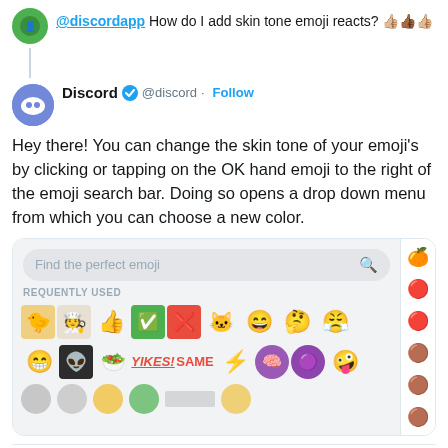@discordapp How do I add skin tone emoji reacts? 👍🏾👍
Discord @discord · Follow
Hey there! You can change the skin tone of your emoji's by clicking or tapping on the OK hand emoji to the right of the emoji search bar. Doing so opens a drop down menu from which you can choose a new color.
[Figure (screenshot): Discord emoji picker showing search bar with placeholder 'Find the perfect emoji', a REQUENTLY USED section with various emoji icons including thumbs up, checkmark, X, cat, smiley faces, Pikachu, and custom emoji stickers like YIKES and SAME]
5:35 PM · Mar 9, 2019
♥ 44   Reply   Copy link